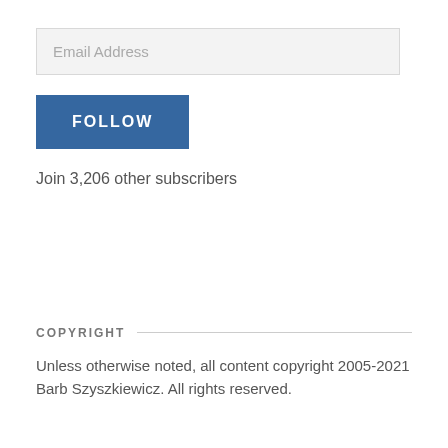Email Address
FOLLOW
Join 3,206 other subscribers
COPYRIGHT
Unless otherwise noted, all content copyright 2005-2021 Barb Szyszkiewicz. All rights reserved.